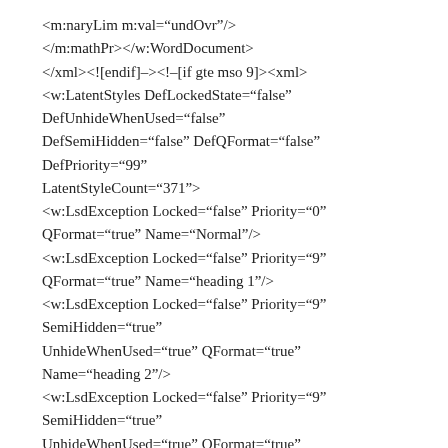<m:naryLim m:val="undOvr"/>
</m:mathPr></w:WordDocument>
</xml><![endif]-><!-[if gte mso 9]><xml>
<w:LatentStyles DefLockedState="false" DefUnhideWhenUsed="false" DefSemiHidden="false" DefQFormat="false" DefPriority="99" LatentStyleCount="371">
<w:LsdException Locked="false" Priority="0" QFormat="true" Name="Normal"/>
<w:LsdException Locked="false" Priority="9" QFormat="true" Name="heading 1"/>
<w:LsdException Locked="false" Priority="9" SemiHidden="true" UnhideWhenUsed="true" QFormat="true" Name="heading 2"/>
<w:LsdException Locked="false" Priority="9" SemiHidden="true" UnhideWhenUsed="true" QFormat="true"